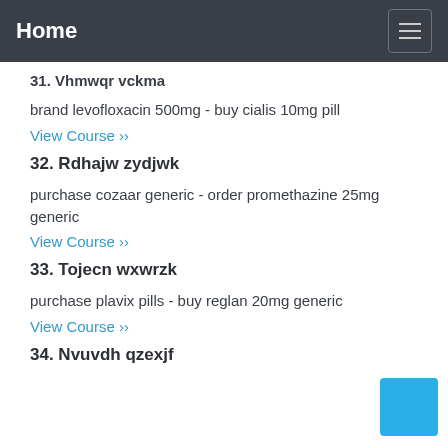Home
31. Vhmwqr vckma
brand levofloxacin 500mg - buy cialis 10mg pill
View Course ››
32. Rdhajw zydjwk
purchase cozaar generic - order promethazine 25mg generic
View Course ››
33. Tojecn wxwrzk
purchase plavix pills - buy reglan 20mg generic
View Course ››
34. Nvuvdh qzexjf